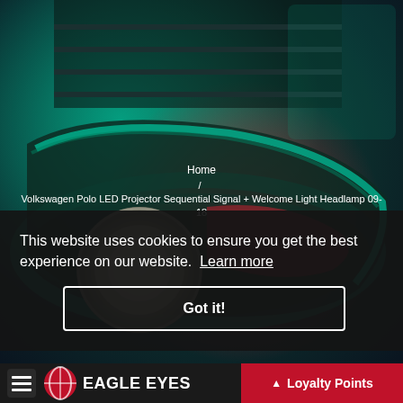[Figure (photo): Close-up of a car headlamp/LED projector light assembly with teal and red color tones against a dark background]
Home
/ Volkswagen Polo LED Projector Sequential Signal + Welcome Light Headlamp 09-18
This website uses cookies to ensure you get the best experience on our website. Learn more
Got it!
Loyalty Points
[Figure (logo): Eagle Eyes brand logo with globe/helmet icon]